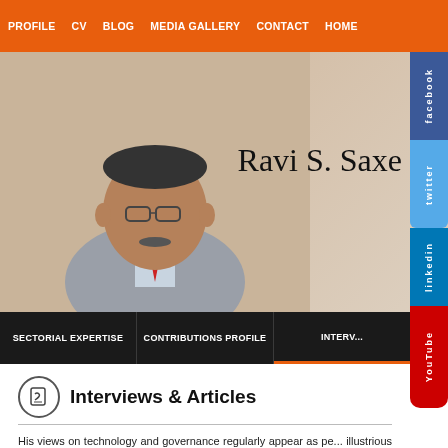PROFILE  CV  BLOG  MEDIA GALLERY  CONTACT  HOME
[Figure (photo): Hero section with portrait photo of Ravi S. Saxena on left side, name displayed in large serif font on right side, on a beige/tan background]
Ravi S. Saxe...
[Figure (other): Social media sidebar buttons: Facebook, Twitter, LinkedIn, YouTube on the right edge]
SECTORIAL EXPERTISE  CONTRIBUTIONS PROFILE  INTERV...
Interviews & Articles
His views on technology and governance regularly appear as pe... illustrious publications in the field of IT.
He has guest-edited various issues of IT and eGovernance pub... eGovernance, use of technology for management of law and order, unmet... digital inclusion, devices networks and applications.